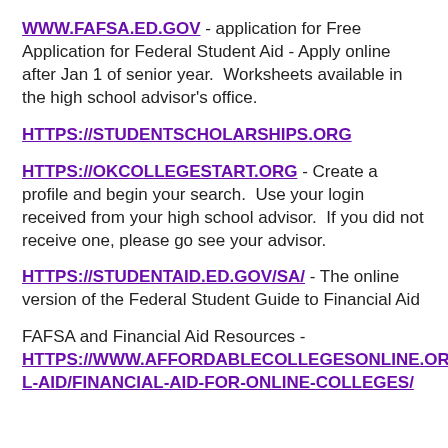WWW.FAFSA.ED.GOV - application for Free Application for Federal Student Aid - Apply online after Jan 1 of senior year.  Worksheets available in the high school advisor's office.
HTTPS://STUDENTSCHOLARSHIPS.ORG
HTTPS://OKCOLLEGESTART.ORG - Create a profile and begin your search.  Use your login received from your high school advisor.  If you did not receive one, please go see your advisor.
HTTPS://STUDENTAID.ED.GOV/SA/ - The online version of the Federal Student Guide to Financial Aid
FAFSA and Financial Aid Resources - HTTPS://WWW.AFFORDABLECOLLEGESONLINE.ORG/FINANCIAL-AID/FINANCIAL-AID-FOR-ONLINE-COLLEGES/